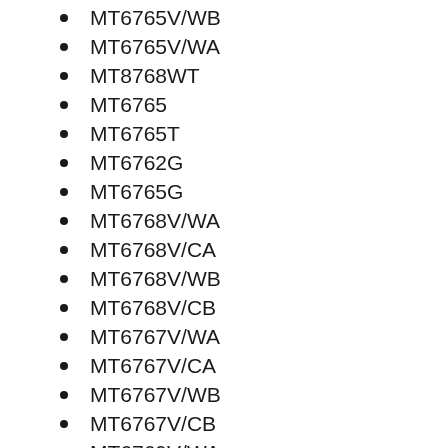MT6765V/WB
MT6765V/WA
MT8768WT
MT6765
MT6765T
MT6762G
MT6765G
MT6768V/WA
MT6768V/CA
MT6768V/WB
MT6768V/CB
MT6767V/WA
MT6767V/CA
MT6767V/WB
MT6767V/CB
MT6769V/WA
MT6769V/CA
MT6769V/WB